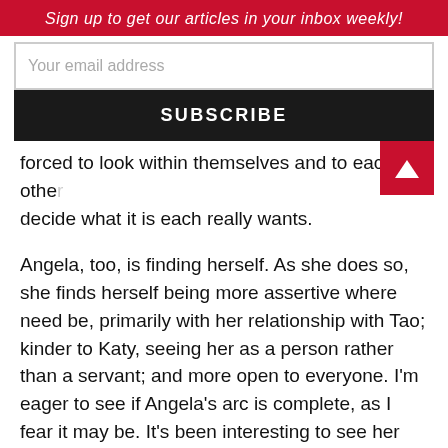Sign up to get our articles in your inbox weekly!
forced to look within themselves and to each other decide what it is each really wants.
Angela, too, is finding herself. As she does so, she finds herself being more assertive where need be, primarily with her relationship with Tao; kinder to Katy, seeing her as a person rather than a servant; and more open to everyone. I'm eager to see if Angela's arc is complete, as I fear it may be. It's been interesting to see her slowly transform, generally seen more through looks and asides than by lengthy words or actions, and I would like to continue seeing her develop.
But the focus, of course, remains on the girls. They're